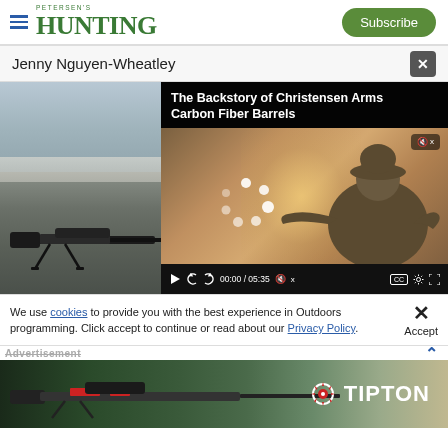PETERSEN'S HUNTING | Subscribe
Jenny Nguyen-Wheatley
[Figure (screenshot): Video player showing 'The Backstory of Christensen Arms Carbon Fiber Barrels' with video controls showing 00:00 / 05:35, muted, CC button, settings and fullscreen icons. Background shows a person aiming a rifle. Left side shows a rifle on a bipod in a field.]
We use cookies to provide you with the best experience in Outdoors programming. Click accept to continue or read about our Privacy Policy.
[Figure (photo): Tipton advertisement banner showing a rifle with Tipton logo on the right side against an outdoor background.]